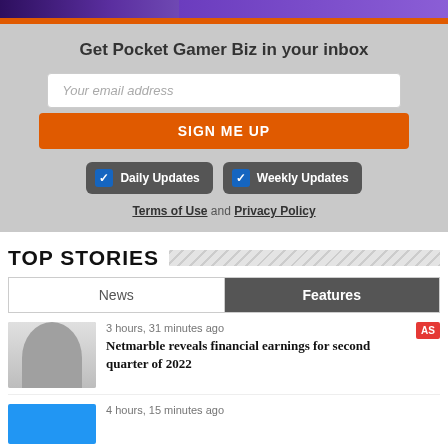[Figure (illustration): Purple/blue banner image at top of page]
Get Pocket Gamer Biz in your inbox
Your email address
SIGN ME UP
Daily Updates
Weekly Updates
Terms of Use and Privacy Policy
TOP STORIES
News
Features
3 hours, 31 minutes ago
Netmarble reveals financial earnings for second quarter of 2022
4 hours, 15 minutes ago